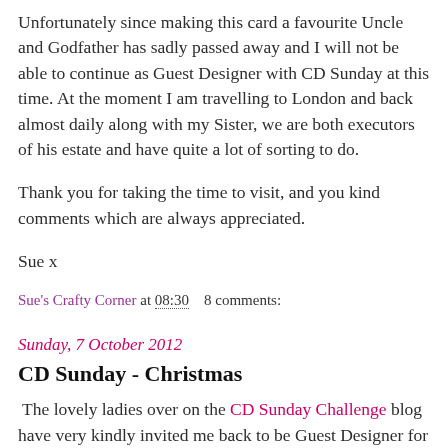Unfortunately since making this card a favourite Uncle and Godfather has sadly passed away and I will not be able to continue as Guest Designer with CD Sunday at this time. At the moment I am travelling to London and back almost daily along with my Sister, we are both executors of his estate and have quite a lot of sorting to do.

Thank you for taking the time to visit, and you kind comments which are always appreciated.

Sue x
Sue's Crafty Corner at 08:30   8 comments:
Sunday, 7 October 2012
CD Sunday - Christmas
The lovely ladies over on the CD Sunday Challenge blog have very kindly invited me back to be Guest Designer for October, as it is the first Sunday of the month, the...